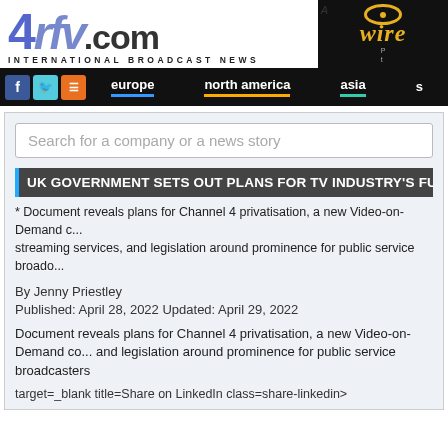[Figure (logo): 4rfv.com International Broadcast News logo with blue stylized text and wire brand box]
europe | north america | asia
Search for a company or a news story
UK GOVERNMENT SETS OUT PLANS FOR TV INDUSTRY'S FU...
* Document reveals plans for Channel 4 privatisation, a new Video-on-Demand c... streaming services, and legislation around prominence for public service broado...
By Jenny Priestley
Published: April 28, 2022 Updated: April 29, 2022
Document reveals plans for Channel 4 privatisation, a new Video-on-Demand co... and legislation around prominence for public service broadcasters
target=_blank title=Share on LinkedIn class=share-linkedin>